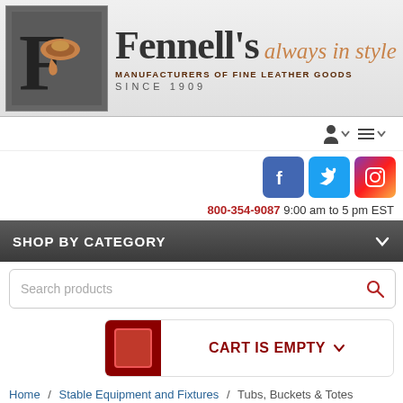[Figure (logo): Fennell's logo with stylized F letter and horse saddle icon, beside brand name 'Fennell's always in style', tagline 'MANUFACTURERS OF FINE LEATHER GOODS SINCE 1909']
[Figure (infographic): User account icon with dropdown chevron, and menu icon with dropdown chevron]
[Figure (infographic): Facebook, Twitter, and Instagram social media icons]
800-354-9087 9:00 am to 5 pm EST
SHOP BY CATEGORY
Search products
CART IS EMPTY
Home / Stable Equipment and Fixtures / Tubs, Buckets & Totes